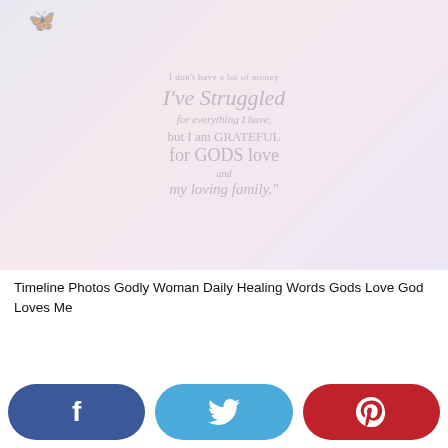[Figure (illustration): Inspirational quote image with soft pastel gradient background (lavender/pink), decorative butterfly silhouette top-left, and multi-line text in gray: 'I don't have a lot of money / I've Struggled / for everything I have, / but I am GRATEFUL / for GODS love / and / my loving family."']
Timeline Photos Godly Woman Daily Healing Words Gods Love God Loves Me